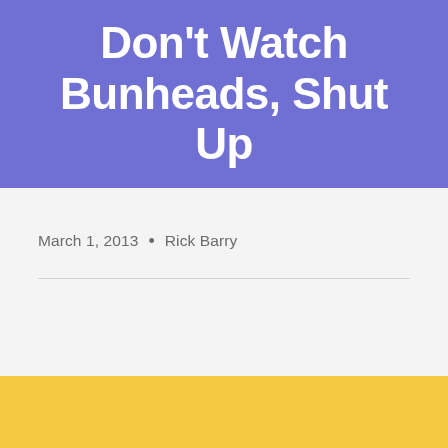Don't Watch Bunheads, Shut Up
March 1, 2013  •  Rick Barry
[Figure (other): Yellow banner at bottom of page]